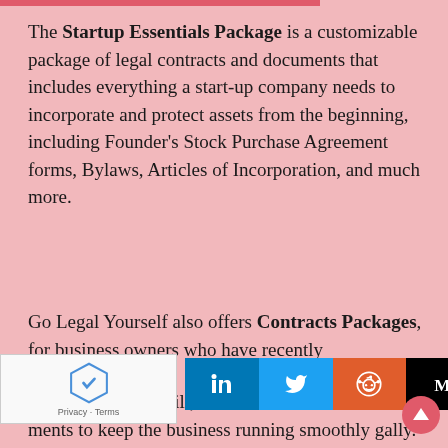The Startup Essentials Package is a customizable package of legal contracts and documents that includes everything a start-up company needs to incorporate and protect assets from the beginning, including Founder's Stock Purchase Agreement forms, Bylaws, Articles of Incorporation, and much more.
Go Legal Yourself also offers Contracts Packages, for business owners who have recently
incorporated, yet still, need essential documents and ments to keep the business running smoothly gally. These contracts ranging from W Client